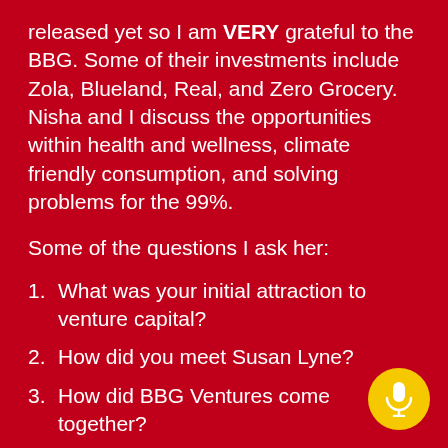released yet so I am VERY grateful to the BBG. Some of their investments include Zola, Blueland, Real, and Zero Grocery. Nisha and I discuss the opportunities within health and wellness, climate friendly consumption, and solving problems for the 99%.
Some of the questions I ask her:
1. What was your initial attraction to venture capital?
2. How did you meet Susan Lyne?
3. How did BBG Ventures come together?
4. What are some of your themes or areas of focus?